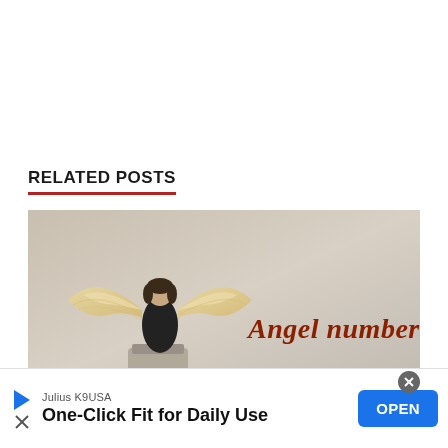RELATED POSTS
[Figure (illustration): Angel figure with wings sitting on a pedestal, viewed from behind, with text 'Angel number' in red cursive script on the right side against a soft beige/grey background]
Julius K9USA
One-Click Fit for Daily Use
OPEN